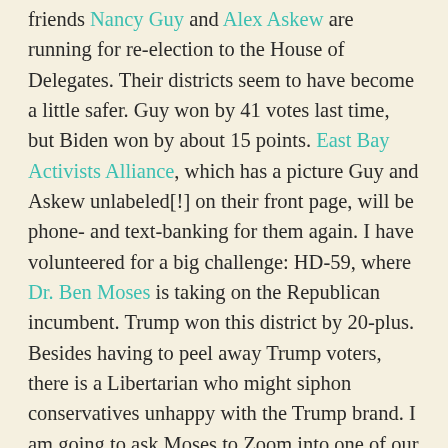friends Nancy Guy and Alex Askew are running for re-election to the House of Delegates. Their districts seem to have become a little safer. Guy won by 41 votes last time, but Biden won by about 15 points. East Bay Activists Alliance, which has a picture Guy and Askew unlabeled[!] on their front page, will be phone- and text-banking for them again. I have volunteered for a big challenge: HD-59, where Dr. Ben Moses is taking on the Republican incumbent. Trump won this district by 20-plus. Besides having to peel away Trump voters, there is a Libertarian who might siphon conservatives unhappy with the Trump brand. I am going to ask Moses to Zoom into one of our upcoming meetings to give a pitch. Don't give him your rent money. This is to lay the foundation for the Democratic Party in an area it has been invisible for decades. He is on track to get enough for that.